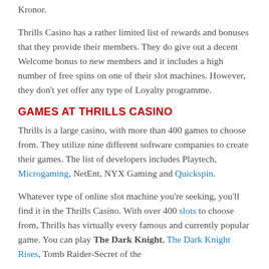Kronor.
Thrills Casino has a rather limited list of rewards and bonuses that they provide their members. They do give out a decent Welcome bonus to new members and it includes a high number of free spins on one of their slot machines. However, they don't yet offer any type of Loyalty programme.
GAMES AT THRILLS CASINO
Thrills is a large casino, with more than 400 games to choose from. They utilize nine different software companies to create their games. The list of developers includes Playtech, Microgaming, NetEnt, NYX Gaming and Quickspin.
Whatever type of online slot machine you're seeking, you'll find it in the Thrills Casino. With over 400 slots to choose from, Thrills has virtually every famous and currently popular game. You can play The Dark Knight, The Dark Knight Rises, Tomb Raider-Secret of the